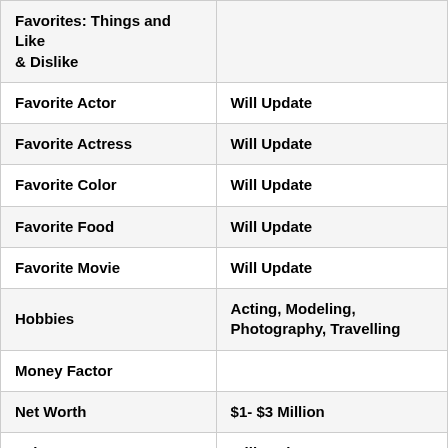| Category | Value |
| --- | --- |
| Favorites: Things and Like & Dislike |  |
| Favorite Actor | Will Update |
| Favorite Actress | Will Update |
| Favorite Color | Will Update |
| Favorite Food | Will Update |
| Favorite Movie | Will Update |
| Hobbies | Acting, Modeling, Photography, Travelling |
| Money Factor |  |
| Net Worth | $1- $3 Million |
| Salary | Will Update |
| Contact Address |  |